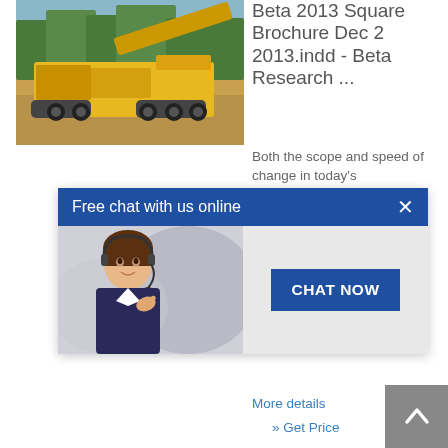[Figure (photo): Yellow heavy construction machinery / mobile crusher on a dirt road with trees in background]
Beta 2013 Square Brochure Dec 2 2013.indd - Beta Research ...
Both the scope and speed of change in today's ... are who find ... help ... the right study to meet your objectives, timeframe and budget. Effective ... List/Sample Maintenance.
[Figure (screenshot): Free chat with us online popup widget with a customer service representative photo and a CHAT NOW button]
More details
» Get Price